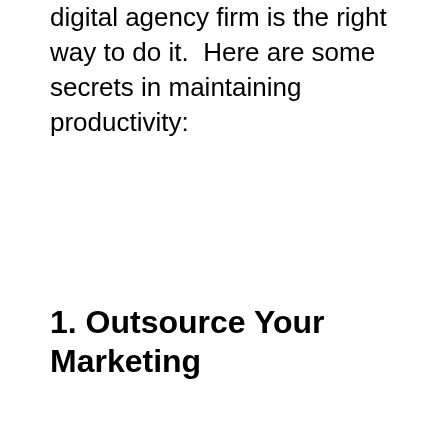digital agency firm is the right way to do it.  Here are some secrets in maintaining productivity:
1. Outsource Your Marketing